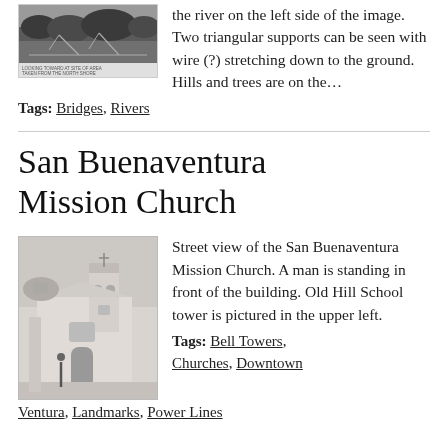[Figure (photo): Black and white historical photo of a bridge with triangular supports, with a small caption text below the image.]
the river on the left side of the image. Two triangular supports can be seen with wire (?) stretching down to the ground. Hills and trees are on the…
Tags: Bridges, Rivers
San Buenaventura Mission Church
[Figure (photo): Black and white street view photograph of the San Buenaventura Mission Church with a man standing in front.]
Street view of the San Buenaventura Mission Church. A man is standing in front of the building. Old Hill School tower is pictured in the upper left.
Tags: Bell Towers, Churches, Downtown Ventura, Landmarks, Power Lines